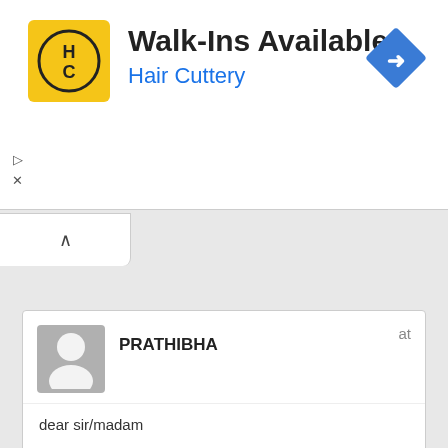[Figure (screenshot): Hair Cuttery advertisement banner with yellow logo showing HC initials, title 'Walk-Ins Available', subtitle 'Hair Cuttery' in blue, and a blue diamond-shaped direction arrow icon on the right]
PRATHIBHA
at
dear sir/madam
pls confom the school fee for l.k.f and U.K.G